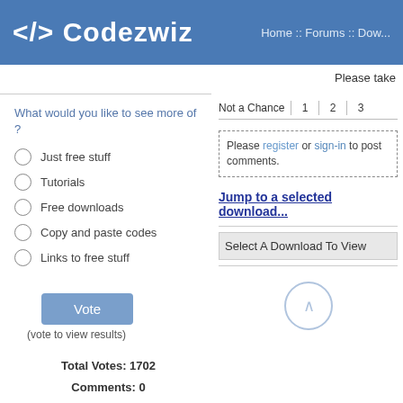</> Codezwiz   Home :: Forums :: Dow...
Please take
What would you like to see more of ?
Not a Chance   1   2   3
Just free stuff
Tutorials
Free downloads
Copy and paste codes
Links to free stuff
Please register or sign-in to post comments.
Jump to a selected download...
Select A Download To View
(vote to view results)
Total Votes: 1702
Comments: 0
New Poll :: All Polls